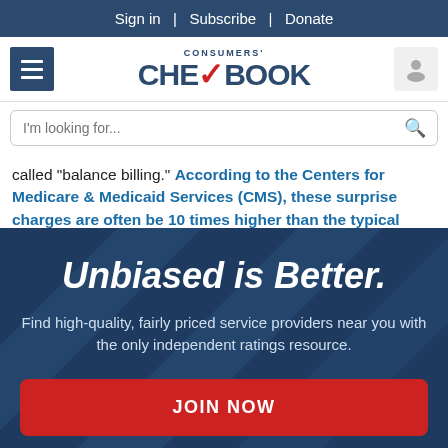Sign in | Subscribe | Donate
[Figure (logo): Consumers' CHECKBOOK logo with red checkmark, hamburger menu icon on left, user icon on right]
I'm looking for...
called “balance billing.” According to the Centers for Medicare & Medicaid Services (CMS), these surprise charges are often be 10 times higher than the typical
Unbiased is Better.
Find high-quality, fairly priced service providers near you with the only independent ratings resource.
JOIN NOW
NO THANKS, MAYBE LATER.